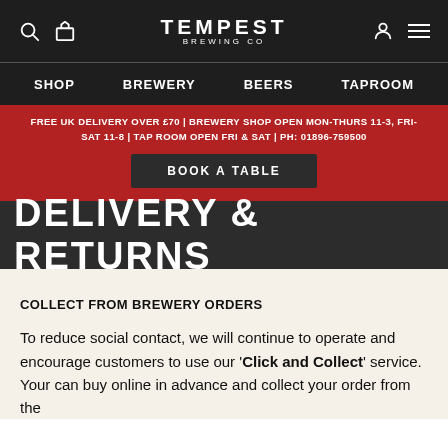TEMPEST BREWING CO
SHOP | BREWERY | BEERS | TAPROOM
FREE UK DELIVERY OVER £70 | BREWERY SHOP OPEN MON-THURS 11-3, FRI-SAT 11-8 | TAP ROOM OPEN FRI & SAT | PH: 01896-759500
BOOK A TABLE
DELIVERY & RETURNS
COLLECT FROM BREWERY ORDERS
To reduce social contact, we will continue to operate and encourage customers to use our 'Click and Collect' service. Your can buy online in advance and collect your order from the